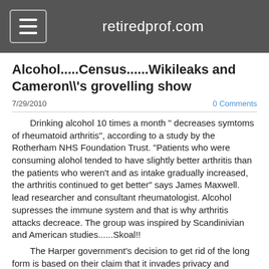retiredprof.com
Alcohol.....Census......Wikileaks and Cameron\\'s grovelling show
7/29/2010
0 Comments
Drinking alcohol 10 times a month " decreases symtoms of rheumatoid arthritis", according to a study by the Rotherham NHS Foundation Trust. "Patients who were consuming alohol tended to have slightly better arthritis than the patients who weren't and as intake gradually increased, the arthritis continued to get better" says James Maxwell. lead researcher and consultant rheumatologist. Alcohol supresses the immune system and that is why arthritis attacks decreace. The group was inspired by Scandinivian and American studies......Skoal!!
The Harper government's decision to get rid of the long form is based on their claim that it invades privacy and threatens fine and/or jail time, if you do not comply . This is baseless, when you consider that a whole host of organisations who are forced by the government